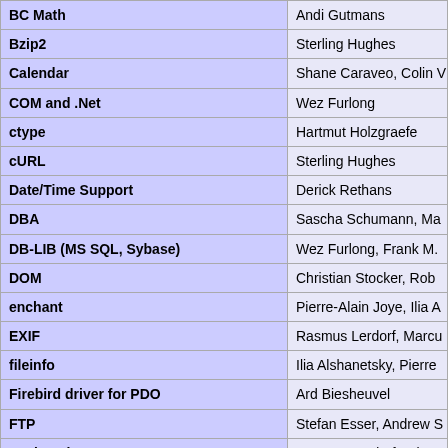| Extension/Module | Authors |
| --- | --- |
| BC Math | Andi Gutmans |
| Bzip2 | Sterling Hughes |
| Calendar | Shane Caraveo, Colin V |
| COM and .Net | Wez Furlong |
| ctype | Hartmut Holzgraefe |
| cURL | Sterling Hughes |
| Date/Time Support | Derick Rethans |
| DBA | Sascha Schumann, Ma |
| DB-LIB (MS SQL, Sybase) | Wez Furlong, Frank M. |
| DOM | Christian Stocker, Rob |
| enchant | Pierre-Alain Joye, Ilia A |
| EXIF | Rasmus Lerdorf, Marcu |
| fileinfo | Ilia Alshanetsky, Pierre |
| Firebird driver for PDO | Ard Biesheuvel |
| FTP | Stefan Esser, Andrew S |
| GD imaging | Rasmus Lerdorf, Stig B |
| GetText | Alex Plotnick |
| GNU GMP support | Stanislav Malyshev |
| Iconv | Rui Hirokawa, Stig Bak |
| IMAP | Rex Logan, Mark Muso |